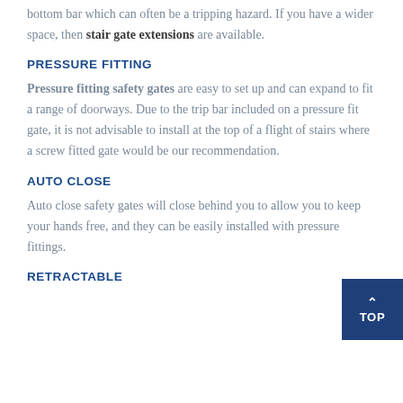bottom bar which can often be a tripping hazard. If you have a wider space, then stair gate extensions are available.
PRESSURE FITTING
Pressure fitting safety gates are easy to set up and can expand to fit a range of doorways. Due to the trip bar included on a pressure fit gate, it is not advisable to install at the top of a flight of stairs where a screw fitted gate would be our recommendation.
AUTO CLOSE
Auto close safety gates will close behind you to allow you to keep your hands free, and they can be easily installed with pressure fittings.
RETRACTABLE